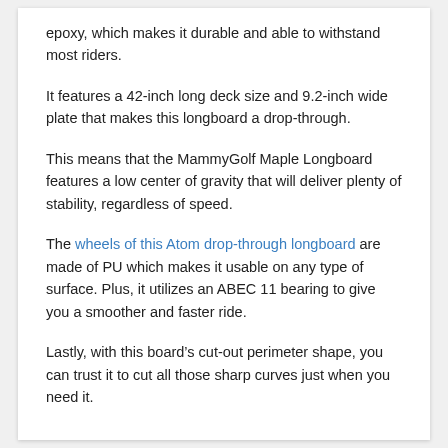epoxy, which makes it durable and able to withstand most riders.
It features a 42-inch long deck size and 9.2-inch wide plate that makes this longboard a drop-through.
This means that the MammyGolf Maple Longboard features a low center of gravity that will deliver plenty of stability, regardless of speed.
The wheels of this Atom drop-through longboard are made of PU which makes it usable on any type of surface. Plus, it utilizes an ABEC 11 bearing to give you a smoother and faster ride.
Lastly, with this board’s cut-out perimeter shape, you can trust it to cut all those sharp curves just when you need it.